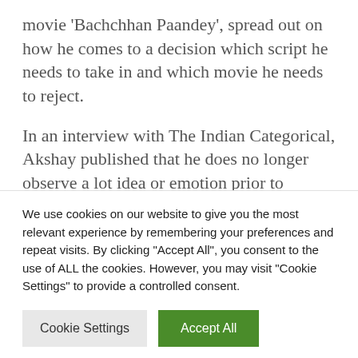movie 'Bachchhan Paandey', spread out on how he comes to a decision which script he needs to take in and which movie he needs to reject.
In an interview with The Indian Categorical, Akshay published that he does no longer observe a lot idea or emotion prior to signing movies and that he does no longer love to intellectualise his movies a lot. He added that
We use cookies on our website to give you the most relevant experience by remembering your preferences and repeat visits. By clicking "Accept All", you consent to the use of ALL the cookies. However, you may visit "Cookie Settings" to provide a controlled consent.